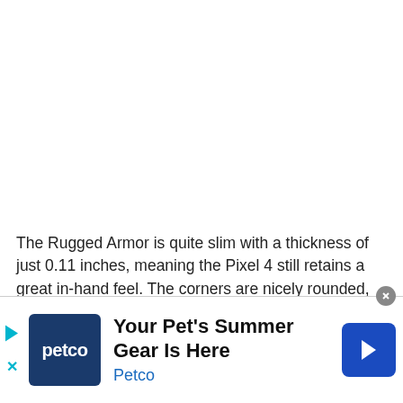The Rugged Armor is quite slim with a thickness of just 0.11 inches, meaning the Pixel 4 still retains a great in-hand feel. The corners are nicely rounded, further adding to the case's comfort, and you'll find a textured frame to add some welcome grip.
[Figure (screenshot): Advertisement banner for Petco featuring the Petco logo (white text on dark blue background), headline 'Your Pet's Summer Gear Is Here', subtext 'Petco' in blue, a play/navigation button on the left, an X close button, a close circle button in the upper right, and a blue diamond-shaped navigation arrow icon on the right.]